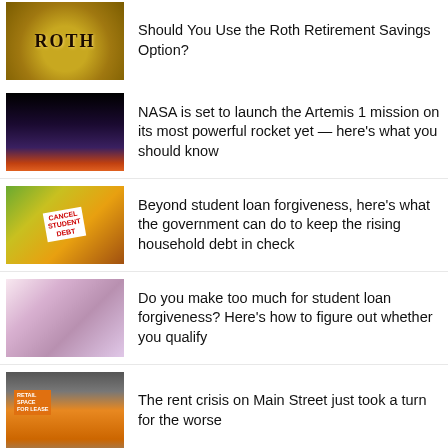Should You Use the Roth Retirement Savings Option?
NASA is set to launch the Artemis 1 mission on its most powerful rocket yet — here's what you should know
Beyond student loan forgiveness, here's what the government can do to keep the rising household debt in check
Do you make too much for student loan forgiveness? Here's how to figure out whether you qualify
The rent crisis on Main Street just took a turn for the worse